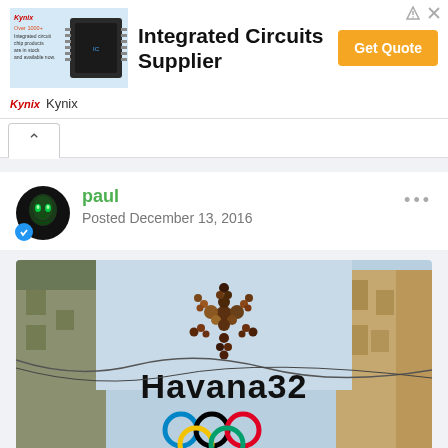[Figure (infographic): Kynix advertisement banner showing integrated circuit chip image, text 'Integrated Circuits Supplier', and orange 'Get Quote' button]
Kynix
paul
Posted December 13, 2016
[Figure (photo): Photo of Havana 32 Olympic bid logo showing a star made of circles/dots above the text 'Havana32' and Olympic rings, set against a street scene with buildings]